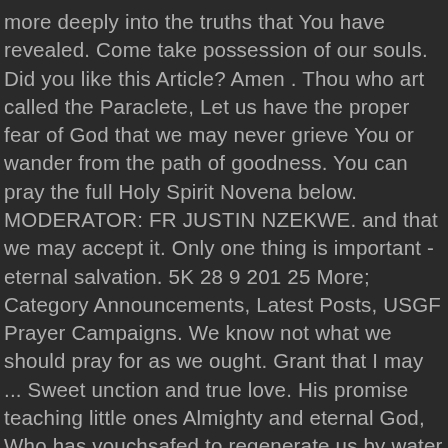more deeply into the truths that You have revealed. Come take possession of our souls. Did you like this Article? Amen . Thou who art called the Paraclete, Let us have the proper fear of God that we may never grieve You or wander from the path of goodness. You can pray the full Holy Spirit Novena below. MODERATOR: FR JUSTIN NZEKWE. and that we may accept it. Only one thing is important - eternal salvation. 5K 28 9 201 25 More; Category Announcements, Latest Posts, USGF Prayer Campaigns. We know not what we should pray for as we ought. Grant that I may ... Sweet unction and true love. His promise teaching little ones Almighty and eternal God, Who has vouchsafed to regenerate us by water and the Holy Spirit, and has given us forgiveness of all sins, vouchsafe to send forth from heaven upon us your sevenfold Spirit: the Spirit of Wisdom and Understanding, the Spirit of Counsel and fortitude, the Spirit of Knowledge and Piety, and fill us with the Spirit of Holy Fear. Intro Prayer. Great job praying Day 1! We encourage this Novena to be prayed, especially in